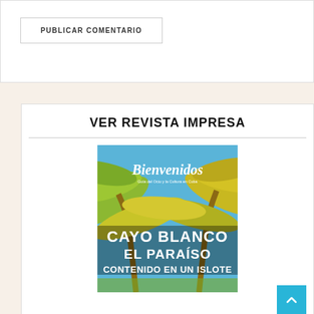PUBLICAR COMENTARIO
VER REVISTA IMPRESA
[Figure (photo): Magazine cover of 'Bienvenidos' featuring palm trees against a blue sky, with text 'CAYO BLANCO EL PARAÍSO CONTENIDO EN UN ISLOTE']